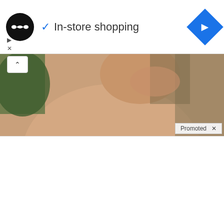[Figure (screenshot): Top advertisement bar with black circle logo with infinity symbol, checkmark, 'In-store shopping' text, and blue navigation diamond icon on the right. Small ad control icons (play, close) below left.]
[Figure (photo): Advertisement banner showing partial torso of a shirtless person laughing, with green foliage in the background. A 'Promoted X' badge appears at the bottom right. A collapse chevron button on top left.]
[Figure (photo): Thumbnail image of a woman in dark jacket outdoors with a play button overlay, suggesting a video.]
Nancy Pelosi Wants This Video Destroyed — Watch Now Before It's Banned
600,591
[Figure (illustration): Medical illustration showing four outline figures of human bodies in profile, with red highlighted areas indicating sciatic nerve pain locations on the hip, lower back, and leg regions.]
Suffering From Chronic Sciatic Nerve Pain? Here's A Secret You Need To Know
86,679